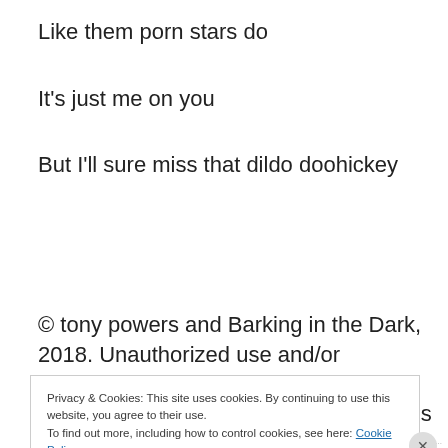Like them porn stars do
It's just me on you
But I'll sure miss that dildo doohickey
© tony powers and Barking in the Dark, 2018. Unauthorized use and/or duplication of this material without express and written permission from this blog's
Privacy & Cookies: This site uses cookies. By continuing to use this website, you agree to their use.
To find out more, including how to control cookies, see here: Cookie Policy
Close and accept